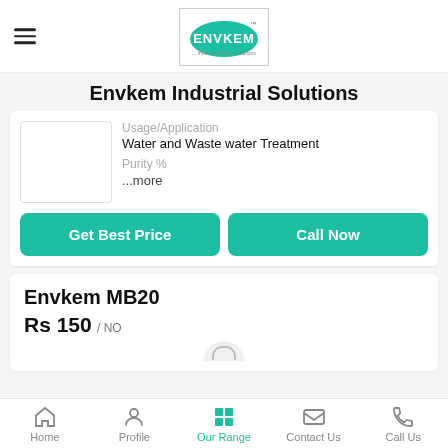[Figure (logo): Envkem logo with tagline - teal/green oval with ENVKEM text]
Envkem Industrial Solutions
Usage/Application
Water and Waste water Treatment
Purity %
...more
Get Best Price
Call Now
Envkem MB20
Rs 150 / NO
Home  Profile  Our Range  Contact Us  Call Us